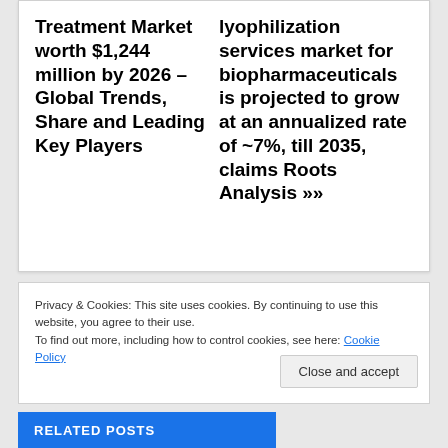Treatment Market worth $1,244 million by 2026 – Global Trends, Share and Leading Key Players
lyophilization services market for biopharmaceuticals is projected to grow at an annualized rate of ~7%, till 2035, claims Roots Analysis »»
Privacy & Cookies: This site uses cookies. By continuing to use this website, you agree to their use.
To find out more, including how to control cookies, see here: Cookie Policy
Close and accept
RELATED POSTS